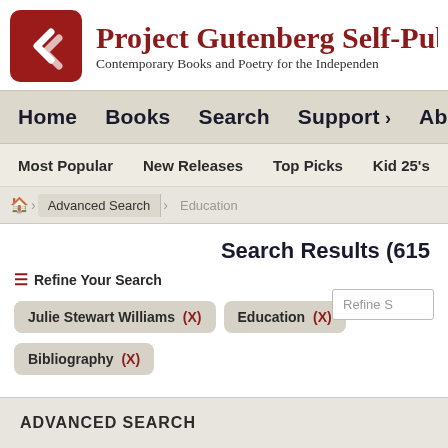[Figure (logo): Project Gutenberg Self-Publishing logo - red rounded square with white G letter]
Project Gutenberg Self-Publishing Press
Contemporary Books and Poetry for the Independent Author
Home  Books  Search  Support  About Us
Most Popular  New Releases  Top Picks  Kid 25's
Advanced Search  Education
Search Results (615
Refine Your Search
Julie Stewart Williams (X)
Education (X)
Bibliography (X)
Refine S
ADVANCED SEARCH